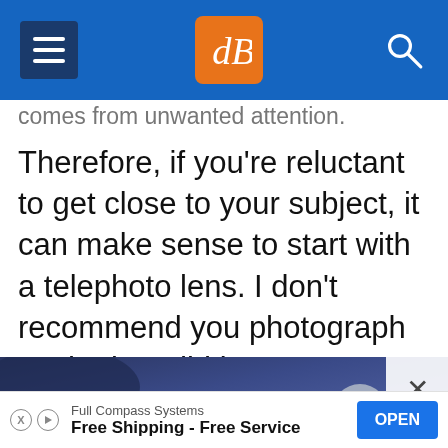dPS (Digital Photography School)
comes from unwanted attention.
Therefore, if you're reluctant to get close to your subject, it can make sense to start with a telephoto lens. I don't recommend you photograph as the boy did in my story – shooting around corners is a bit much! – but you can mount a telephoto lens on your camera, take a few steps back, and work from afar.
[Figure (photo): Dark blue-toned photo showing a microphone or similar object against a dark background]
Full Compass Systems – Free Shipping - Free Service – OPEN